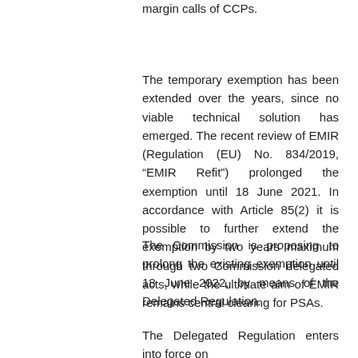margin calls of CCPs.
The temporary exemption has been extended over the years, since no viable technical solution has emerged. The recent review of EMIR (Regulation (EU) No. 834/2019, “EMIR Refit”) prolonged the exemption until 18 June 2021. In accordance with Article 85(2) it is possible to further extend the exemption by two years maximum through two Commission delegated acts, while the ultimate aim of EMIR remains central clearing for PSAs.
The Commission is proposing to prolong the existing exemption until 18 June 2022, by means of the Delegated Regulation.
The Delegated Regulation enters into force on